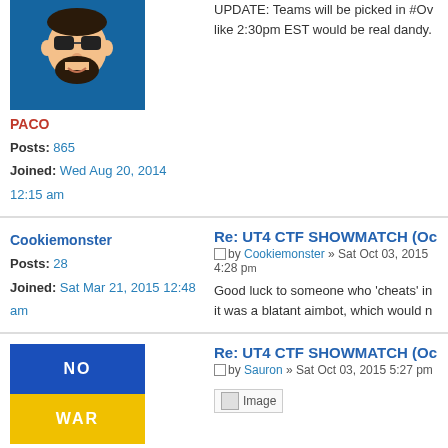[Figure (illustration): Avatar of user PACO - cartoon bearded man with sunglasses on blue background]
PACO
Posts: 865
Joined: Wed Aug 20, 2014 12:15 am
UPDATE: Teams will be picked in #Ov like 2:30pm EST would be real dandy.
Cookiemonster
Posts: 28
Joined: Sat Mar 21, 2015 12:48 am
Re: UT4 CTF SHOWMATCH (Oc
by Cookiemonster » Sat Oct 03, 2015 4:28 pm
Good luck to someone who 'cheats' in it was a blatant aimbot, which would n
[Figure (illustration): Ukrainian flag avatar with NO WAR text - blue top half, yellow bottom half]
Sauron
Posts: 445
Joined: Thu Sep 11, 2014 12:35 pm
Re: UT4 CTF SHOWMATCH (Oc
by Sauron » Sat Oct 03, 2015 5:27 pm
[Figure (photo): Broken image placeholder labeled 'Image']
Re: UT4 CTF SHOWMATCH (